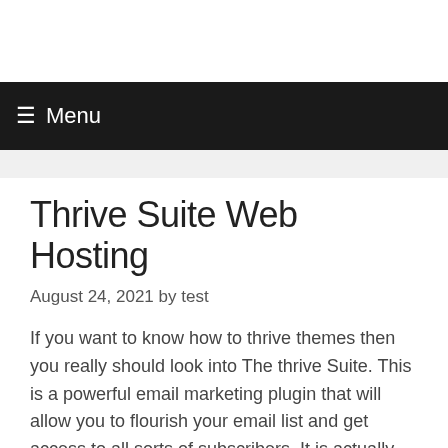Menu
Thrive Suite Web Hosting
August 24, 2021 by test
If you want to know how to thrive themes then you really should look into The thrive Suite. This is a powerful email marketing plugin that will allow you to flourish your email list and get access to all sorts of subscribers. It is actually one of the most user friendly themes that is